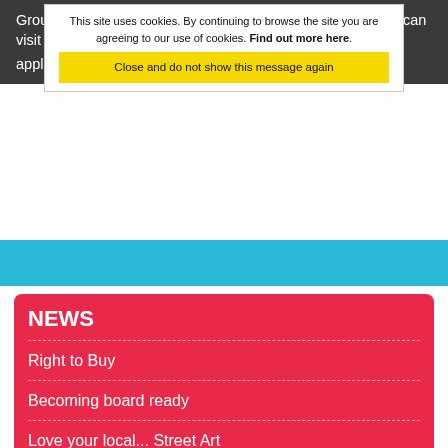Groups wishing to apply for the 2021 Community Challenge can visit www.taitarian.co.uk/communitychallenge and fill in the application form. The deadline is Monday 4th January 2021.
This site uses cookies. By continuing to browse the site you are agreeing to our use of cookies. Find out more here. Close and do not show this message again
[Figure (photo): Blue banner/header image strip]
NEWS
Right to Buy
Becoming board ready
Love your local... Street Art
Meet our wildlife warriors
Check out our storyboards
Does your rent provide value for money?
Delay to Renting Homes Wales